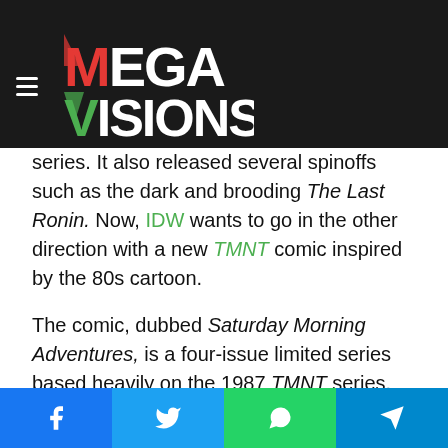Mega Visions logo and navigation header
series. It also released several spinoffs such as the dark and brooding The Last Ronin. Now, IDW wants to go in the other direction with a new TMNT comic inspired by the 80s cartoon.
The comic, dubbed Saturday Morning Adventures, is a four-issue limited series based heavily on the 1987 TMNT series. With a script by Erik Burnham and art by Tim Lattie, it's a love letter to the incredibly popular and beloved turtle-powered cartoon. Burnham couldn't be happier to work on the project:
Social share buttons: Facebook, Twitter, WhatsApp, Telegram